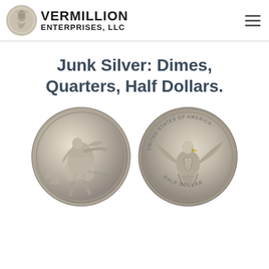Vermillion Enterprises, LLC
Junk Silver: Dimes, Quarters, Half Dollars.
[Figure (photo): Two Walking Liberty half dollar coins side by side — obverse showing Lady Liberty walking toward sunrise, and reverse showing a bald eagle with wings spread.]